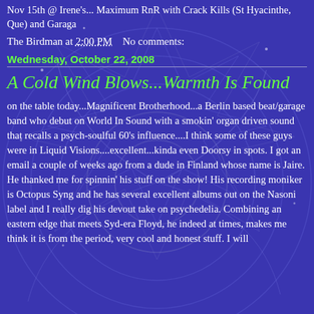Nov 15th @ Irene's... Maximum RnR with Crack Kills (St Hyacinthe, Que) and Garaga
The Birdman at 2:00 PM    No comments:
Wednesday, October 22, 2008
A Cold Wind Blows...Warmth Is Found
on the table today...Magnificent Brotherhood...a Berlin based beat/garage band who debut on World In Sound with a smokin' organ driven sound that recalls a psych-soulful 60's influence....I think some of these guys were in Liquid Visions....excellent...kinda even Doorsy in spots. I got an email a couple of weeks ago from a dude in Finland whose name is Jaire. He thanked me for spinnin' his stuff on the show! His recording moniker is Octopus Syng and he has several excellent albums out on the Nasoni label and I really dig his devout take on psychedelia. Combining an eastern edge that meets Syd-era Floyd, he indeed at times, makes me think it is from the period, very cool and honest stuff. I will